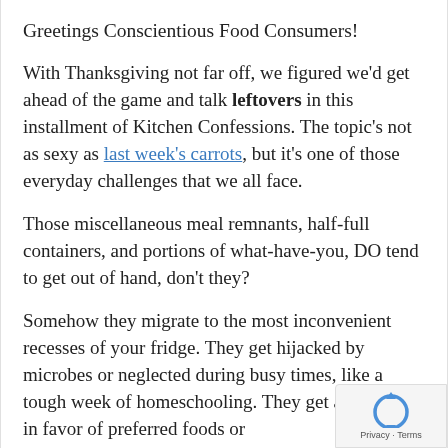Greetings Conscientious Food Consumers!
With Thanksgiving not far off, we figured we'd get ahead of the game and talk leftovers in this installment of Kitchen Confessions. The topic's not as sexy as last week's carrots, but it's one of those everyday challenges that we all face.
Those miscellaneous meal remnants, half-full containers, and portions of what-have-you, DO tend to get out of hand, don't they?
Somehow they migrate to the most inconvenient recesses of your fridge. They get hijacked by microbes or neglected during busy times, like a tough week of homeschooling. They get abandoned in favor of preferred foods or